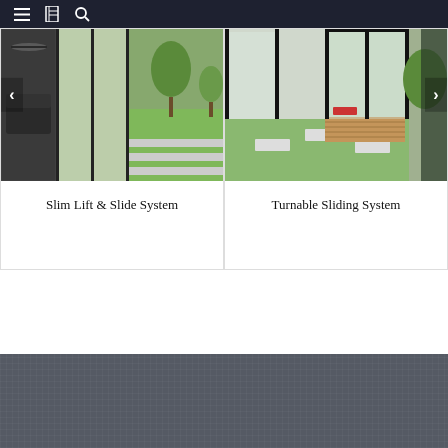Navigation bar with menu, catalog, and search icons
[Figure (photo): Photo of modern sliding glass door opening to a garden with green lawn and trees, interior with dark sofa visible]
Slim Lift & Slide System
[Figure (photo): Photo of modern glass sliding/corner door system opening to outdoor area with stepping stones and green lawn]
Turnable Sliding System
[Figure (logo): MEDO logo in thin white geometric font on dark grey textured background]